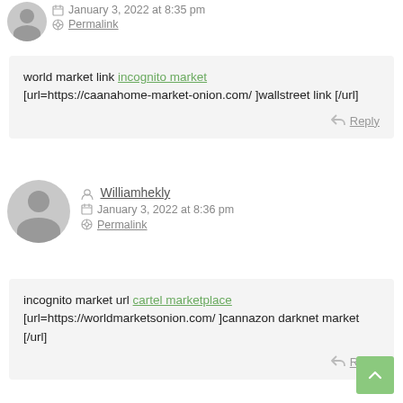January 3, 2022 at 8:35 pm
Permalink
world market link incognito market [url=https://caanahome-market-onion.com/ ]wallstreet link [/url]
Reply
Williamhekly
January 3, 2022 at 8:36 pm
Permalink
incognito market url cartel marketplace [url=https://worldmarketsonion.com/ ]cannazon darknet market [/url]
Reply